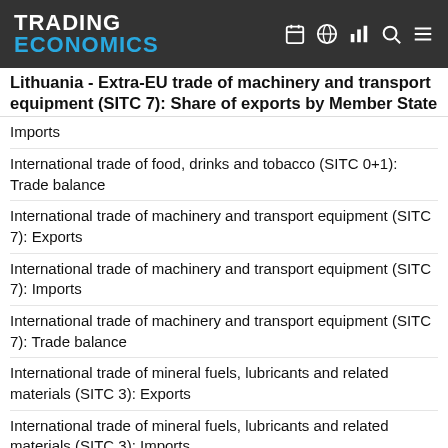TRADING ECONOMICS
Lithuania - Extra-EU trade of machinery and transport equipment (SITC 7): Share of exports by Member State
Imports
International trade of food, drinks and tobacco (SITC 0+1): Trade balance
International trade of machinery and transport equipment (SITC 7): Exports
International trade of machinery and transport equipment (SITC 7): Imports
International trade of machinery and transport equipment (SITC 7): Trade balance
International trade of mineral fuels, lubricants and related materials (SITC 3): Exports
International trade of mineral fuels, lubricants and related materials (SITC 3): Imports
International trade of mineral fuels, lubricants and related materials (SITC 3): Trade balance
International trade of other manufactured goods (SITC 6+8): Exports